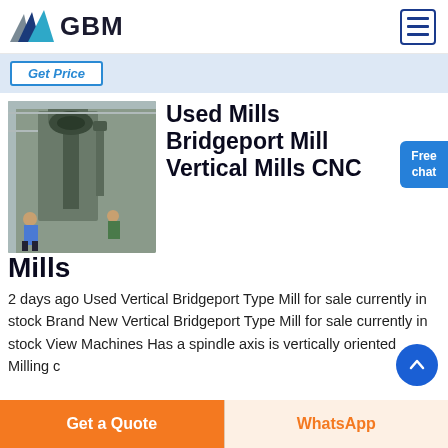GBM
Get Price
Used Mills Bridgeport Mill Vertical Mills CNC Mills
[Figure (photo): Industrial vertical mill machinery in a factory setting with workers visible]
2 days ago Used Vertical Bridgeport Type Mill for sale currently in stock Brand New Vertical Bridgeport Type Mill for sale currently in stock View Machines Has a spindle axis is vertically oriented Milling cutters
Free chat
Get a Quote
WhatsApp